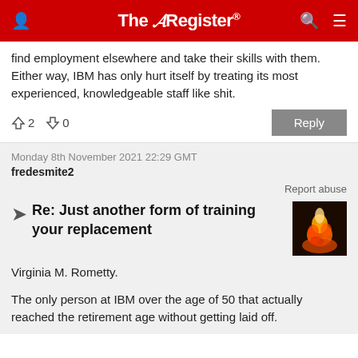The Register
find employment elsewhere and take their skills with them. Either way, IBM has only hurt itself by treating its most experienced, knowledgeable staff like shit.
↑2  ↓0
Monday 8th November 2021 22:29 GMT
fredesmite2
Report abuse
Re: Just another form of training your replacement
Virginia M. Rometty.

The only person at IBM over the age of 50 that actually reached the retirement age without getting laid off.